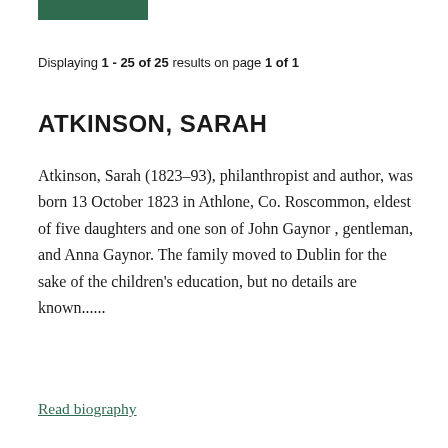[Figure (other): Green horizontal bar/banner at top of page]
Displaying 1 - 25 of 25 results on page 1 of 1
ATKINSON, SARAH
Atkinson, Sarah (1823–93), philanthropist and author, was born 13 October 1823 in Athlone, Co. Roscommon, eldest of five daughters and one son of John Gaynor , gentleman, and Anna Gaynor. The family moved to Dublin for the sake of the children's education, but no details are known......
Read biography